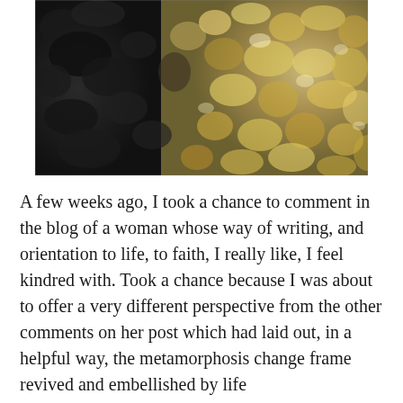[Figure (photo): Close-up macro photograph of wet rocks and pebbles with light reflecting off water, showing dark stone texture on the left and translucent golden/amber bubbles or water-covered stones on the right.]
A few weeks ago, I took a chance to comment in the blog of a woman whose way of writing, and orientation to life, to faith, I really like, I feel kindred with. Took a chance because I was about to offer a very different perspective from the other comments on her post which had laid out, in a helpful way, the metamorphosis change frame revived and embellished by life